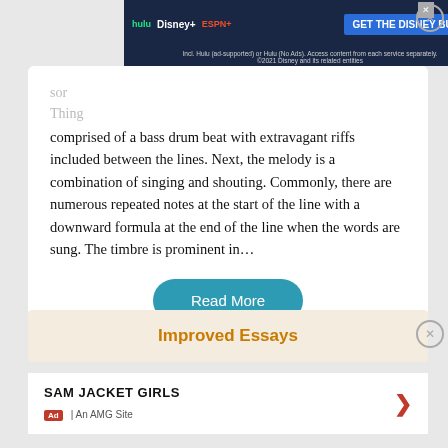[Figure (screenshot): Disney Bundle advertisement banner with Hulu, Disney+, and ESPN+ logos and 'GET THE DISNEY BUNDLE' call-to-action button on dark navy background]
comprised of a bass drum beat with extravagant riffs included between the lines. Next, the melody is a combination of singing and shouting. Commonly, there are numerous repeated notes at the start of the line with a downward formula at the end of the line when the words are sung. The timbre is prominent in…
Read More
Improved Essays
SAM JACKET GIRLS
Ad | An AMG Site